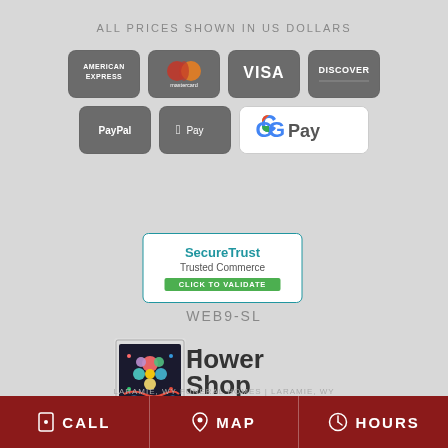ALL PRICES SHOWN IN US DOLLARS
[Figure (logo): Payment method icons: American Express, Mastercard, Visa, Discover, PayPal, Apple Pay, Google Pay]
[Figure (logo): SecureTrust Trusted Commerce badge with CLICK TO VALIDATE button]
WEB9-SL
[Figure (logo): Flower Shop Network logo - flowershopnetwork.com]
LARAMIE, WY FUNERAL HOMES | LARAMIE, WY
CALL  MAP  HOURS